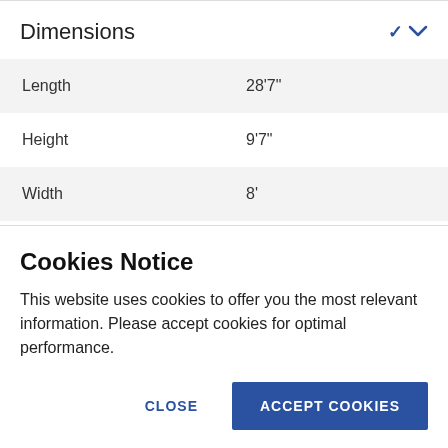Dimensions
| Length | 28'7" |
| Height | 9'7" |
| Width | 8' |
Cookies Notice
This website uses cookies to offer you the most relevant information. Please accept cookies for optimal performance.
CLOSE | ACCEPT COOKIES